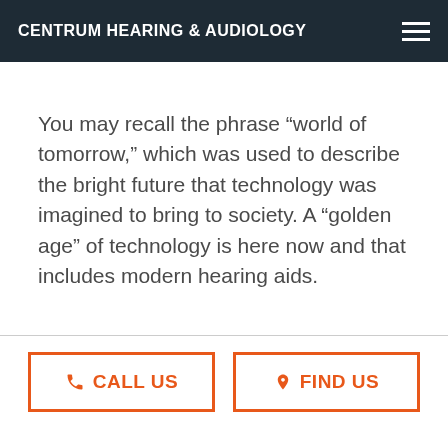CENTRUM HEARING & AUDIOLOGY
You may recall the phrase “world of tomorrow,” which was used to describe the bright future that technology was imagined to bring to society. A “golden age” of technology is here now and that includes modern hearing aids.
CALL US
FIND US